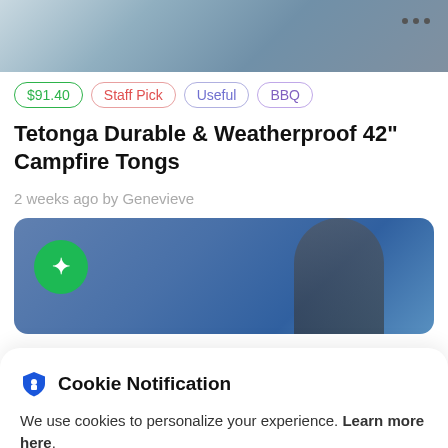[Figure (screenshot): Top portion of a product page showing an outdoor/nature background image with three dots menu in top right corner]
$91.40  Staff Pick  Useful  BBQ
Tetonga Durable & Weatherproof 42" Campfire Tongs
2 weeks ago by Genevieve
[Figure (screenshot): Second product image showing a person outdoors against blue sky with a green circle Kickstarter logo icon in lower left]
Cookie Notification
We use cookies to personalize your experience. Learn more here.
I Don't Accept  I Accept